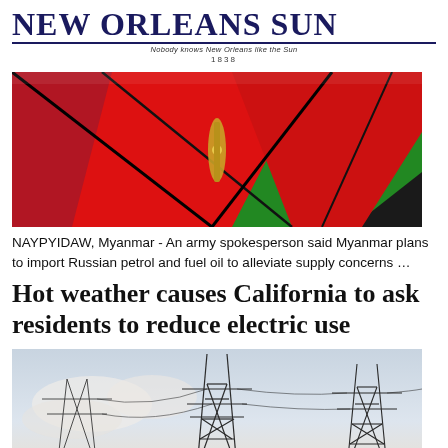NEW ORLEANS SUN — Nobody knows New Orleans like the Sun — 1838
[Figure (photo): Close-up of colorful enamel flag pins — blue, red, and green flags crossed together with a gold pin base.]
NAYPYIDAW, Myanmar - An army spokesperson said Myanmar plans to import Russian petrol and fuel oil to alleviate supply concerns …
Hot weather causes California to ask residents to reduce electric use
[Figure (photo): Photo of high-voltage electrical transmission towers/pylons against a pale sky background.]